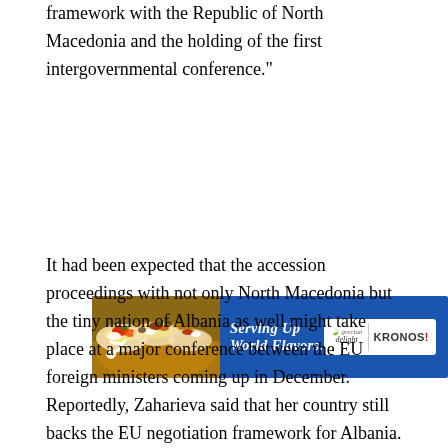framework with the Republic of North Macedonia and the holding of the first intergovernmental conference."
[Figure (photo): Advertisement banner for Grecian Delight and KRONOS featuring food (tacos/wraps) on the left side and blue background with tagline 'Serving Up World Flavors.' and the Grecian Delight | KRONOS logos on the right.]
It had been expected that the accession proceedings with not only North Macedonia but the tiny nation of Albania as well might take place at a major conference between the EU foreign ministers coming up in December.
Reportedly, Zaharieva said that her country still backs the EU negotiation framework for Albania.